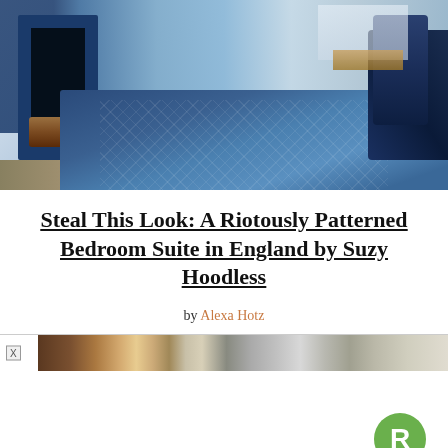[Figure (photo): Bedroom interior with blue floral wallpaper, fireplace on the left, a blue diamond-patterned blanket runner on a bed, navy pillows, and a wooden desk by the window.]
Steal This Look: A Riotously Patterned Bedroom Suite in England by Suzy Hoodless
by Alexa Hotz
[Figure (other): Advertisement bar with X close button and decorative image strip.]
[Figure (logo): Green circular logo with white letter R]